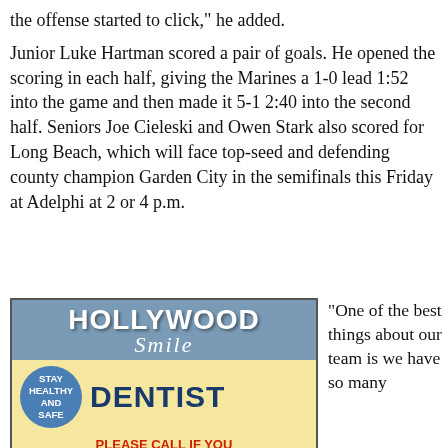the offense started to click,” he added.
Junior Luke Hartman scored a pair of goals. He opened the scoring in each half, giving the Marines a 1-0 lead 1:52 into the game and then made it 5-1 2:40 into the second half. Seniors Joe Cieleski and Owen Stark also scored for Long Beach, which will face top-seed and defending county champion Garden City in the semifinals this Friday at Adelphi at 2 or 4 p.m.
[Figure (illustration): Hollywood Smile Dentist advertisement. Blue header with HOLLYWOOD SMILE text, yellow middle section with blue circle saying STAY HEALTHY and SAFE, DENTIST in bold dark blue, red text PLEASE CALL IF YOU HAVE A DENTAL EMERGENCY, two phone numbers 516.442.2111 and 718.830.0110 with addresses 282A Sunrise Highway Rockville Centre NY 11570 and 9750 Queens Blvd Suite G2 Rego Park NY 11374 Corner of 65th & Queens Blvd.]
“One of the best things about our team is we have so many diff...